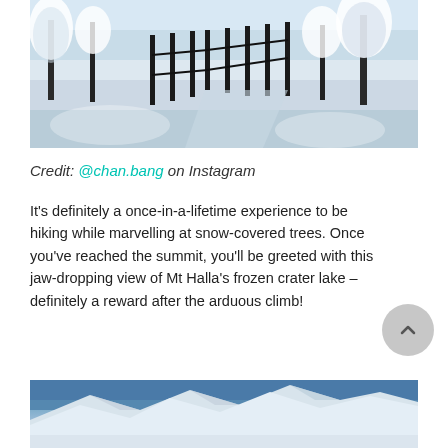[Figure (photo): Winter scene showing snow-covered trees and a wooden fence/railing path, blue-tinted snowy landscape]
Credit: @chan.bang on Instagram
It's definitely a once-in-a-lifetime experience to be hiking while marvelling at snow-covered trees. Once you've reached the summit, you'll be greeted with this jaw-dropping view of Mt Halla's frozen crater lake – definitely a reward after the arduous climb!
[Figure (photo): Mountain landscape with snow-covered peaks under a blue sky, Mt Halla frozen crater lake view]